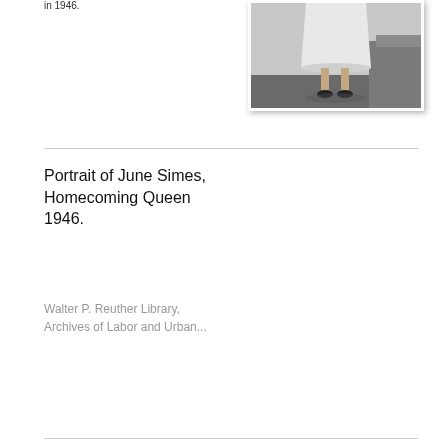in 1946.
[Figure (photo): Black and white photograph showing the lower half of a woman in a white dress and dark heels, standing near a chair or couch.]
Portrait of June Simes, Homecoming Queen 1946.
Walter P. Reuther Library, Archives of Labor and Urban...